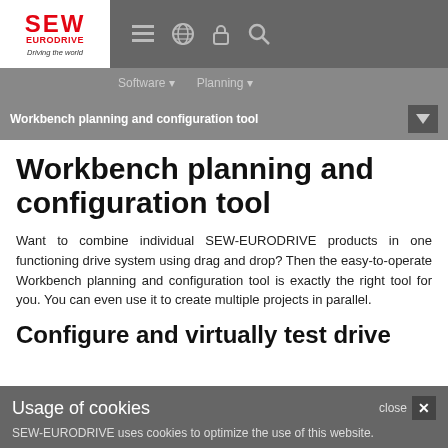[Figure (logo): SEW-EURODRIVE logo with red text and tagline 'Driving the world']
Navigation bar with menu, globe, lock, and search icons; Software and Planning sub-navigation items
Workbench planning and configuration tool
Workbench planning and configuration tool
Want to combine individual SEW-EURODRIVE products in one functioning drive system using drag and drop? Then the easy-to-operate Workbench planning and configuration tool is exactly the right tool for you. You can even use it to create multiple projects in parallel.
Configure and virtually test drive
Usage of cookies
SEW-EURODRIVE uses cookies to optimize the use of this website.